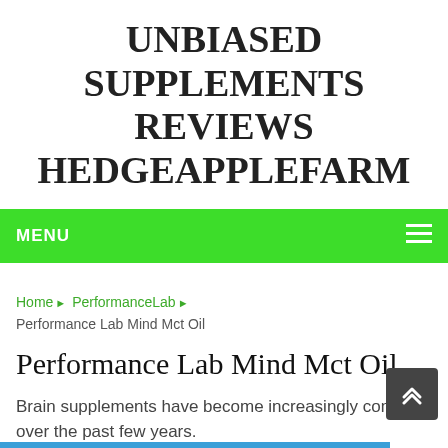UNBIASED SUPPLEMENTS REVIEWS HEDGEAPPLEFARM
MENU
Home ▶ PerformanceLab ▶ Performance Lab Mind Mct Oil
Performance Lab Mind Mct Oil
Brain supplements have become increasingly common over the past few years.